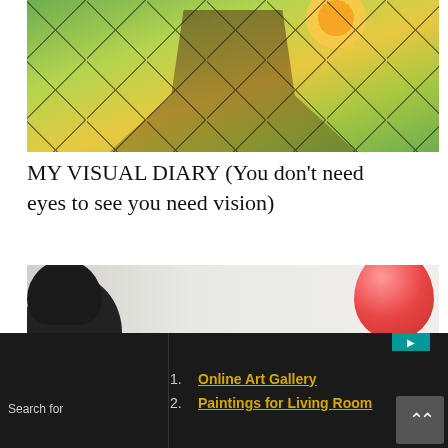[Figure (photo): A woman standing with arms outstretched in front of a colorful painting or backdrop with green, yellow and black branch patterns and a sun motif. She wears a patterned outfit with black and white stripes.]
MY VISUAL DIARY (You don’t need eyes to see you need vision)
[Figure (photo): A partial view of a person with a dark beanie hat on the left side, with pink and yellow balloon-like sculptures visible on the right side, against a light gray background.]
Search for
1. Online Art Gallery
2. Paintings for Living Room